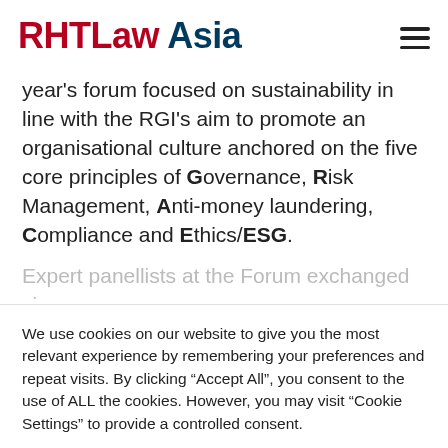RHTLaw Asia
year's forum focused on sustainability in line with the RGI's aim to promote an organisational culture anchored on the five core principles of Governance, Risk Management, Anti-money laundering, Compliance and Ethics/ESG.
Expert panellists at the Forum exchanged views
We use cookies on our website to give you the most relevant experience by remembering your preferences and repeat visits. By clicking "Accept All", you consent to the use of ALL the cookies. However, you may visit "Cookie Settings" to provide a controlled consent.